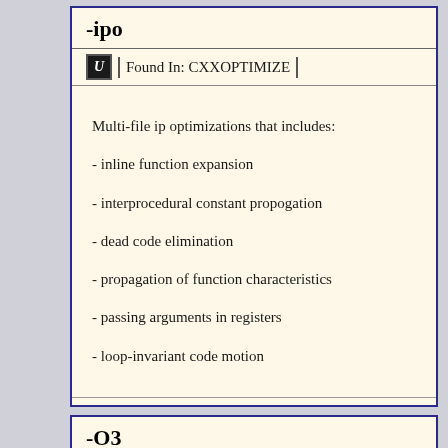-ipo
Found In: CXXOPTIMIZE
Multi-file ip optimizations that includes:
- inline function expansion
- interprocedural constant propogation
- dead code elimination
- propagation of function characteristics
- passing arguments in registers
- loop-invariant code motion
-O3
Found In: CXXOPTIMIZE
Enables O2 optimizations plus more aggressive optimizations, such as prefetching, scalar replacement, and loop